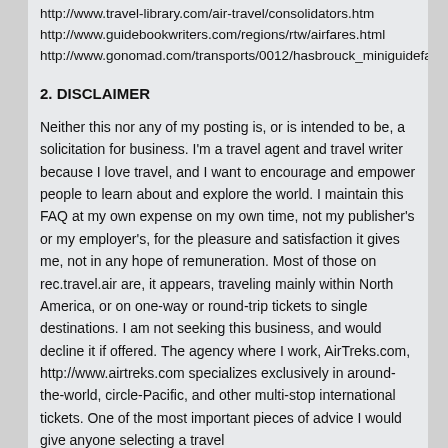http://www.travel-library.com/air-travel/consolidators.htm
http://www.guidebookwriters.com/regions/rtw/airfares.html
http://www.gonomad.com/transports/0012/hasbrouck_miniguidefaq.asp
2. DISCLAIMER
Neither this nor any of my posting is, or is intended to be, a solicitation for business. I'm a travel agent and travel writer because I love travel, and I want to encourage and empower people to learn about and explore the world. I maintain this FAQ at my own expense on my own time, not my publisher's or my employer's, for the pleasure and satisfaction it gives me, not in any hope of remuneration. Most of those on rec.travel.air are, it appears, traveling mainly within North America, or on one-way or round-trip tickets to single destinations. I am not seeking this business, and would decline it if offered. The agency where I work, AirTreks.com, http://www.airtreks.com specializes exclusively in around-the-world, circle-Pacific, and other multi-stop international tickets. One of the most important pieces of advice I would give anyone selecting a travel